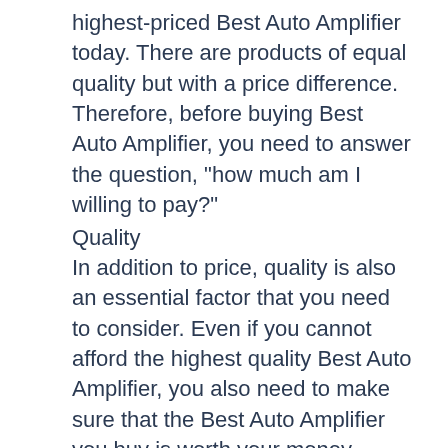highest-priced Best Auto Amplifier today. There are products of equal quality but with a price difference. Therefore, before buying Best Auto Amplifier, you need to answer the question, "how much am I willing to pay?"
Quality
In addition to price, quality is also an essential factor that you need to consider. Even if you cannot afford the highest quality Best Auto Amplifier, you also need to make sure that the Best Auto Amplifier you buy is worth your money.
It's smart to do a small research to understand what makes an excellent Best Auto Amplifier
In addition, you should also learn about the brands that are supplying the Best Auto Amplifier and the method they use to produce the Best Auto Amplifier. If you are inexperienced, you should choose famous brands.
The purpose of these is to help you determine if the